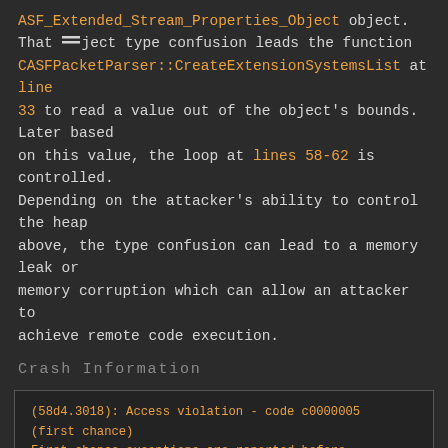ASF_Extended_Stream_Properties_Object object. That object type confusion leads the function CASFPacketParser::CreateExtensionSystemsList at line 33 to read a value out of the object's bounds. Later based on this value, the loop at lines 58-62 is controlled. Depending on the attacker's ability to control the heap above, the type confusion can lead to a memory leak or memory corruption which can allow an attacker to achieve remote code execution.
Crash Information
[Figure (screenshot): Code/debug output box showing crash information: (58d4.3018): Access violation - code c0000005 (first chance) First chance exceptions are reported before any exception handling. This exception may be expected and handled. eax=00000000 ebx=00d069d4 ecx=abababab edx=00000000 esi=abababab edi=00000000 eip=7b5a0770 esp=010ffc08 ebp=010ffc14 iopl=0]